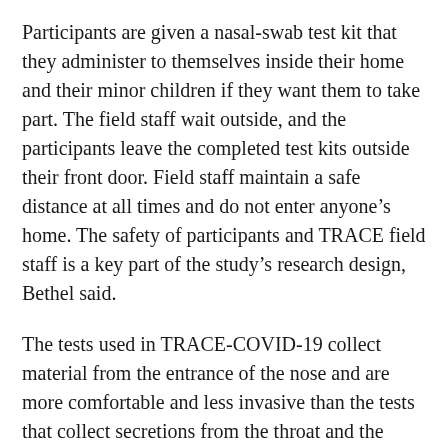Participants are given a nasal-swab test kit that they administer to themselves inside their home and their minor children if they want them to take part. The field staff wait outside, and the participants leave the completed test kits outside their front door. Field staff maintain a safe distance at all times and do not enter anyone’s home. The safety of participants and TRACE field staff is a key part of the study’s research design, Bethel said.
The tests used in TRACE-COVID-19 collect material from the entrance of the nose and are more comfortable and less invasive than the tests that collect secretions from the throat and the back of the nose.
The field workers leave participants with information